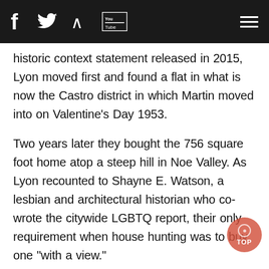[Social media icons: Facebook, Twitter, RSS, YouTube] [Hamburger menu]
historic context statement released in 2015, Lyon moved first and found a flat in what is now the Castro district in which Martin moved into on Valentine's Day 1953.
Two years later they bought the 756 square foot home atop a steep hill in Noe Valley. As Lyon recounted to Shayne E. Watson, a lesbian and architectural historian who co-wrote the citywide LGBTQ report, their only requirement when house hunting was to buy one "with a view."
Their home would become a gathering place within the city's lesbian community and the site of various meetings and events. House Speaker Nancy Pelosi (D-San Francisco) addressed one gathering there while standing on the staircase of the two-level cottage reportedly built